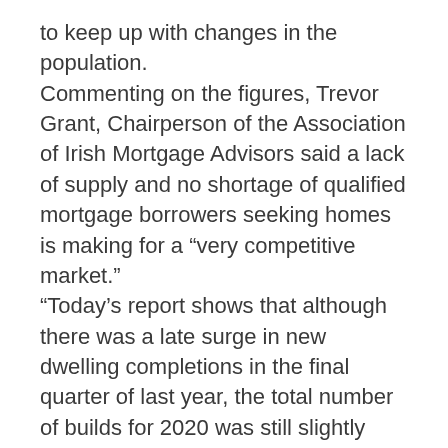to keep up with changes in the population.
Commenting on the figures, Trevor Grant, Chairperson of the Association of Irish Mortgage Advisors said a lack of supply and no shortage of qualified mortgage borrowers seeking homes is making for a “very competitive market.”
“Today’s report shows that although there was a late surge in new dwelling completions in the final quarter of last year, the total number of builds for 2020 was still slightly lower than 2019.
“In an already squeezed property market, where demand has consistently exceeded supply, the lack of supply of suitable properties will continue be an issue this